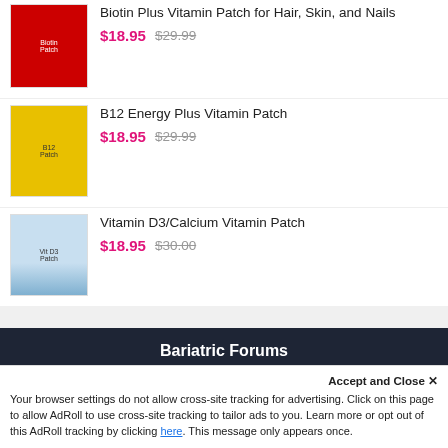Biotin Plus Vitamin Patch for Hair, Skin, and Nails
$18.95 $29.99
[Figure (photo): Red vitamin patch product packaging]
B12 Energy Plus Vitamin Patch
$18.95 $29.99
[Figure (photo): Yellow vitamin patch product packaging]
Vitamin D3/Calcium Vitamin Patch
$18.95 $30.00
[Figure (photo): Blue/white vitamin patch product packaging]
Bariatric Forums
Gastric Sleeve Surgery Forum
Gastric Bypass Surgery Forum
Duodenal Switch Surgery Forum
Gastric Balloon Procedure Forum
Gastric Band Surgery Forum
Accept and Close ✕
Your browser settings do not allow cross-site tracking for advertising. Click on this page to allow AdRoll to use cross-site tracking to tailor ads to you. Learn more or opt out of this AdRoll tracking by clicking here. This message only appears once.